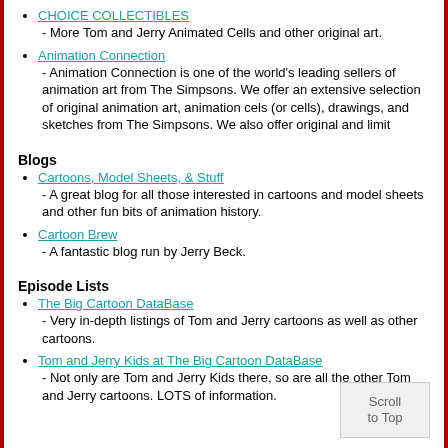CHOICE COLLECTIBLES - More Tom and Jerry Animated Cells and other original art.
Animation Connection - Animation Connection is one of the world's leading sellers of animation art from The Simpsons. We offer an extensive selection of original animation art, animation cels (or cells), drawings, and sketches from The Simpsons. We also offer original and limit
Blogs
Cartoons, Model Sheets, & Stuff - A great blog for all those interested in cartoons and model sheets and other fun bits of animation history.
Cartoon Brew - A fantastic blog run by Jerry Beck.
Episode Lists
The Big Cartoon DataBase - Very in-depth listings of Tom and Jerry cartoons as well as other cartoons.
Tom and Jerry Kids at The Big Cartoon DataBase - Not only are Tom and Jerry Kids there, so are all the other Tom and Jerry cartoons. LOTS of information.